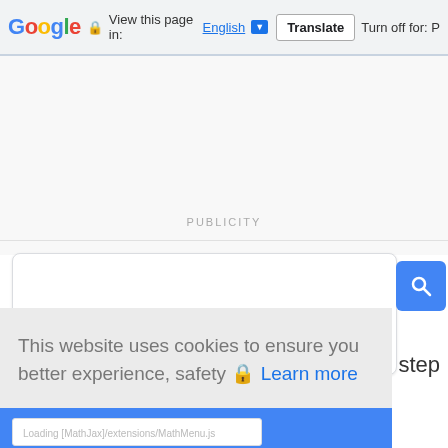[Figure (screenshot): Google Translate bar with Google logo, lock icon, 'View this page in:', English language selector, Translate button, and 'Turn off for: P' text]
PUBLICITY
[Figure (screenshot): Search box with 'ENHANCED BY Google' text and blue search button]
r step
This website uses cookies to ensure you better experience, safety 🔒 Learn more
ok
Loading [MathJax]/extensions/MathMenu.js